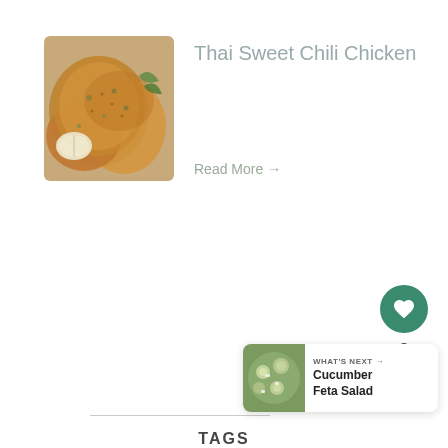[Figure (photo): Photo of Thai Sweet Chili Chicken dish on a plate]
Thai Sweet Chili Chicken
Read More →
2
TAGS
[Figure (photo): Small thumbnail of Cucumber Feta Salad]
WHAT'S NEXT → Cucumber Feta Salad